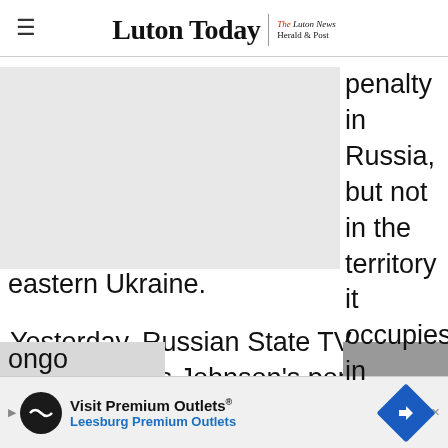Luton Today | The Luton News Herald & Post
[Figure (photo): Image placeholder (grey rectangle) partially obscuring article text]
penalty in Russia, but not in the territory it occupies in eastern Ukraine.
Yesterday, Russian State TV claimed Boris Johnson's popularity will fall if British fighters are executed – despite the case still being ongo
[Figure (other): Advertisement banner: Visit Premium Outlets® Leesburg Premium Outlets]